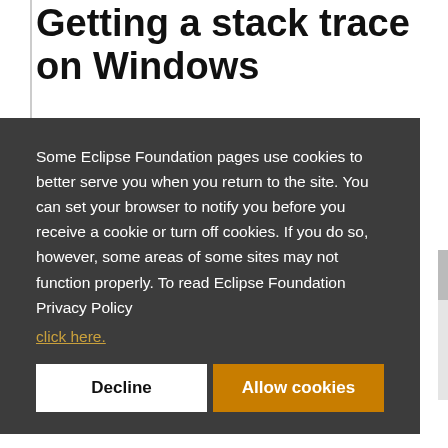Getting a stack trace on Windows
Using jvisualvm
The JavaVisualVM tool is shipped as part of JDK
Some Eclipse Foundation pages use cookies to better serve you when you return to the site. You can set your browser to notify you before you receive a cookie or turn off cookies. If you do so, however, some areas of some sites may not function properly. To read Eclipse Foundation Privacy Policy click here.
1. Launch the JDK's jvisualvm tool.